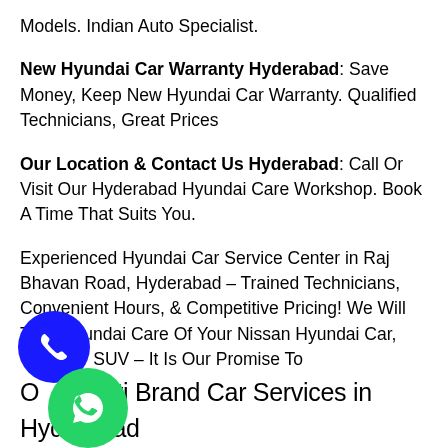Models. Indian Auto Specialist.
New Hyundai Car Warranty Hyderabad: Save Money, Keep New Hyundai Car Warranty. Qualified Technicians, Great Prices
Our Location & Contact Us Hyderabad: Call Or Visit Our Hyderabad Hyundai Care Workshop. Book A Time That Suits You.
Experienced Hyundai Car Service Center in Raj Bhavan Road, Hyderabad – Trained Technicians, Convenient Hours, & Competitive Pricing! We Will Take Hyundai Care Of Your Nissan Hyundai Car, Truck, or SUV – It Is Our Promise To
[Figure (illustration): Blue circular phone call button icon]
[Figure (illustration): Green circular WhatsApp icon]
Our Multi Brand Car Services in Hyderabad